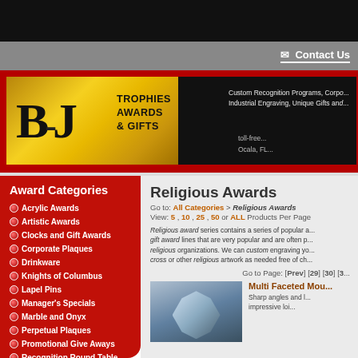Contact Us
[Figure (logo): B-J Trophies Awards & Gifts logo banner with gold emblem on black background. Text: Custom Recognition Programs, Corporate... Industrial Engraving, Unique Gifts and... toll-free... Ocala, FL...]
Award Categories
Acrylic Awards
Artistic Awards
Clocks and Gift Awards
Corporate Plaques
Drinkware
Knights of Columbus
Lapel Pins
Manager's Specials
Marble and Onyx
Perpetual Plaques
Promotional Give Aways
Recognition Round Table
Resin Trophies
Ribbon Awards
Ribbons
Signs | Banners
Religious Awards
Go to: All Categories > Religious Awards
View: 5 , 10 , 25 , 50 or ALL Products Per Page
Religious award series contains a series of popular a... gift award lines that are very popular and are often p... religious organizations. We can custom engraving yo... cross or other religious artwork as needed free of ch...
Go to Page: [Prev] [29] [30] [3...
Multi Faceted Mou...
Sharp angles and l... impressive loi...